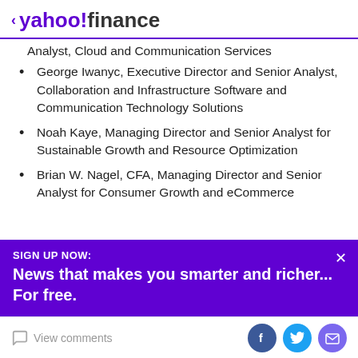yahoo!finance
Analyst, Cloud and Communication Services
George Iwanyc, Executive Director and Senior Analyst, Collaboration and Infrastructure Software and Communication Technology Solutions
Noah Kaye, Managing Director and Senior Analyst for Sustainable Growth and Resource Optimization
Brian W. Nagel, CFA, Managing Director and Senior Analyst for Consumer Growth and eCommerce
SIGN UP NOW: News that makes you smarter and richer... For free.
View comments